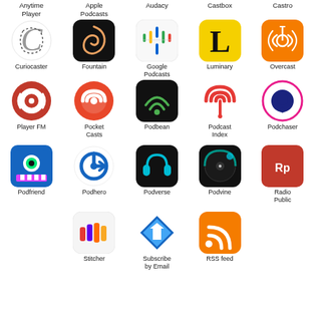[Figure (illustration): Grid of podcast app icons with labels: Anytime Player, Apple Podcasts, Audacy, Castbox, Castro, Curiocaster, Fountain, Google Podcasts, Luminary, Overcast, Player FM, Pocket Casts, Podbean, Podcast Index, Podchaser, Podfriend, Podhero, Podverse, Podvine, Radio Public, Stitcher, Subscribe by Email, RSS feed]